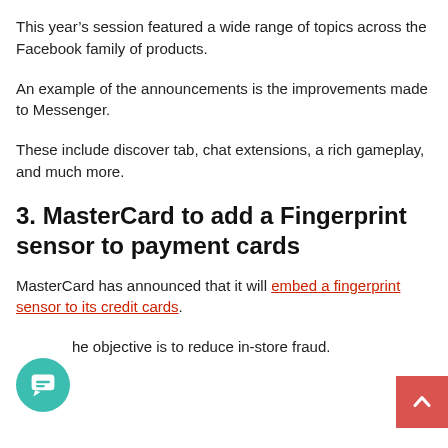This year’s session featured a wide range of topics across the Facebook family of products.
An example of the announcements is the improvements made to Messenger.
These include discover tab, chat extensions, a rich gameplay, and much more.
3. MasterCard to add a Fingerprint sensor to payment cards
MasterCard has announced that it will embed a fingerprint sensor to its credit cards.
The objective is to reduce in-store fraud.